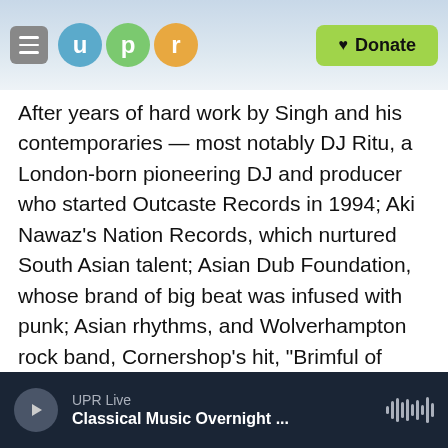UPR logo navigation bar with hamburger menu, U P R logo circles, and Donate button
After years of hard work by Singh and his contemporaries — most notably DJ Ritu, a London-born pioneering DJ and producer who started Outcaste Records in 1994; Aki Nawaz's Nation Records, which nurtured South Asian talent; Asian Dub Foundation, whose brand of big beat was infused with punk; Asian rhythms, and Wolverhampton rock band, Cornershop's hit, "Brimful of Asha" which debuted at number one in August 1997 on the UK music charts — this new sound became "trendy" in Great Britain. The mainstream media lapped it up, and Billboard, with its 1999 headline, "British Asian Scene on Brink of
UPR Live | Classical Music Overnight ...